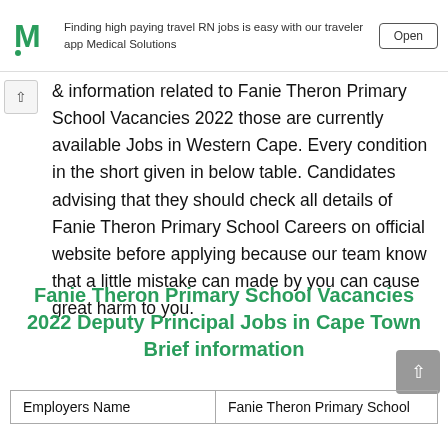[Figure (other): Ad banner for Medical Solutions travel RN jobs app with logo, text, and Open button]
& information related to Fanie Theron Primary School Vacancies 2022 those are currently available Jobs in Western Cape. Every condition in the short given in below table. Candidates advising that they should check all details of Fanie Theron Primary School Careers on official website before applying because our team know that a little mistake can made by you can cause great harm to you.
Fanie Theron Primary School Vacancies 2022 Deputy Principal Jobs in Cape Town Brief information
| Employers Name |  |
| --- | --- |
| Employers Name | Fanie Theron Primary School |